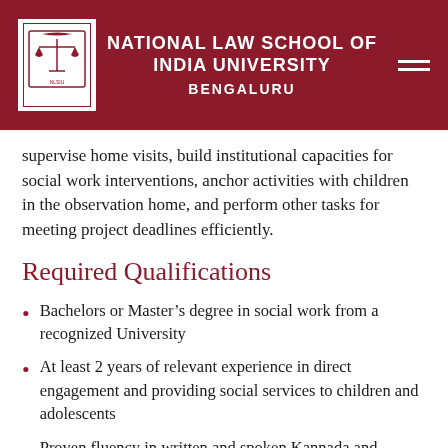NATIONAL LAW SCHOOL OF INDIA UNIVERSITY BENGALURU
supervise home visits, build institutional capacities for social work interventions, anchor activities with children in the observation home, and perform other tasks for meeting project deadlines efficiently.
Required Qualifications
Bachelors or Master’s degree in social work from a recognized University
At least 2 years of relevant experience in direct engagement and providing social services to children and adolescents
Proven fluency in written and spoken Kannada and English